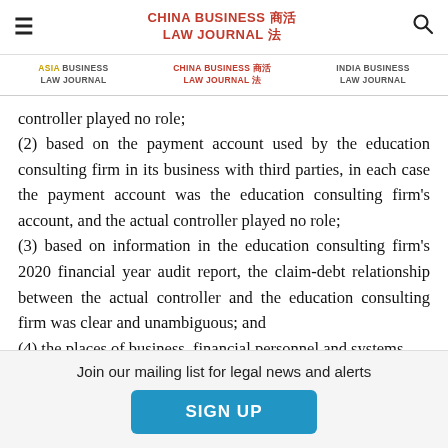CHINA BUSINESS LAW JOURNAL
ASIA BUSINESS LAW JOURNAL | CHINA BUSINESS LAW JOURNAL | INDIA BUSINESS LAW JOURNAL
controller played no role; (2) based on the payment account used by the education consulting firm in its business with third parties, in each case the payment account was the education consulting firm's account, and the actual controller played no role; (3) based on information in the education consulting firm's 2020 financial year audit report, the claim-debt relationship between the actual controller and the education consulting firm was clear and unambiguous; and (4) the places of business, financial personnel and systems,
Join our mailing list for legal news and alerts
SIGN UP